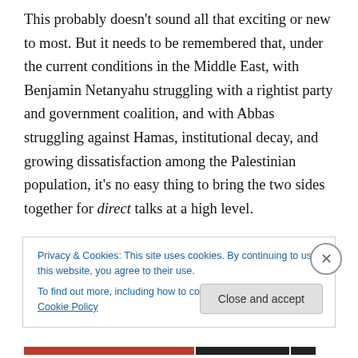This probably doesn't sound all that exciting or new to most. But it needs to be remembered that, under the current conditions in the Middle East, with Benjamin Netanyahu struggling with a rightist party and government coalition, and with Abbas struggling against Hamas, institutional decay, and growing dissatisfaction among the Palestinian population, it's no easy thing to bring the two sides together for direct talks at a high level.

That said, lots can still happen to derail things, including even before the talks start. Here are some other things we
Privacy & Cookies: This site uses cookies. By continuing to use this website, you agree to their use.
To find out more, including how to control cookies, see here: Cookie Policy
Close and accept